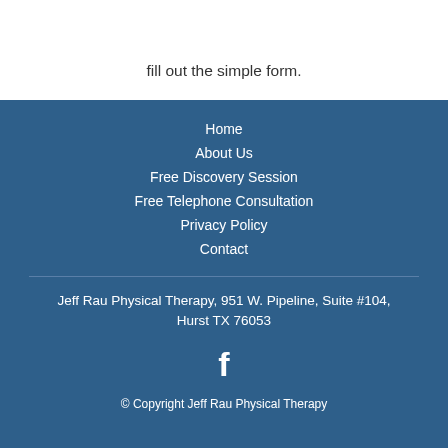just click one of the buttons above and then fill out the simple form.
Home
About Us
Free Discovery Session
Free Telephone Consultation
Privacy Policy
Contact
Jeff Rau Physical Therapy, 951 W. Pipeline, Suite #104, Hurst TX 76053
[Figure (logo): Facebook icon (white letter f on blue background)]
© Copyright Jeff Rau Physical Therapy